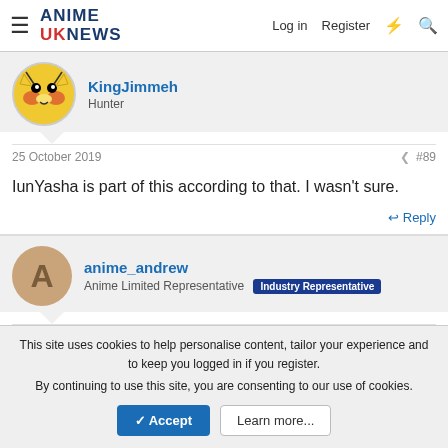ANIME UK NEWS — Log in  Register
KingJimmeh
Hunter
25 October 2019  #89
IunYasha is part of this according to that. I wasn't sure.
Reply
anime_andrew
Anime Limited Representative  Industry Representative
25 October 2019  #90
This site uses cookies to help personalise content, tailor your experience and to keep you logged in if you register.
By continuing to use this site, you are consenting to our use of cookies.
Accept  Learn more...